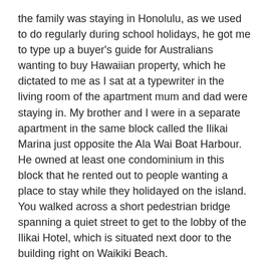the family was staying in Honolulu, as we used to do regularly during school holidays, he got me to type up a buyer's guide for Australians wanting to buy Hawaiian property, which he dictated to me as I sat at a typewriter in the living room of the apartment mum and dad were staying in. My brother and I were in a separate apartment in the same block called the Ilikai Marina just opposite the Ala Wai Boat Harbour. He owned at least one condominium in this block that he rented out to people wanting a place to stay while they holidayed on the island. You walked across a short pedestrian bridge spanning a quiet street to get to the lobby of the Ilikai Hotel, which is situated next door to the building right on Waikiki Beach.
When I decided that I didn't want to live anymore at the residential college I had moved into immediately after school ended, dad bought me a unit in Glebe near Badde Manors cafe. I had stayed in the college for all of 1981 but I didn't like the boisterous, alcohol-saturated culture. Living in a studio apartment was much more my style, and I found I could do whatever I wanted there. I used my time to quietly read American fiction, listen to Mahler and Bruckner records,